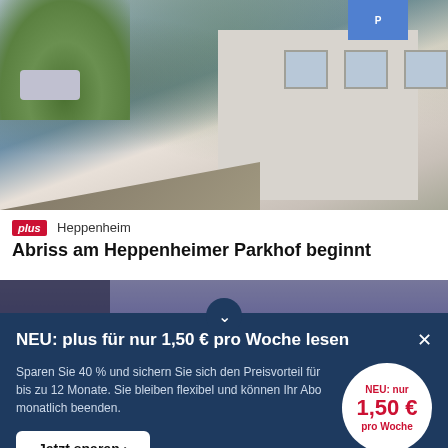[Figure (photo): Street scene showing a building with windows, trees, a pole, and parked cars in Heppenheim]
plus  Heppenheim
Abriss am Heppenheimer Parkhof beginnt
[Figure (photo): Blurred crowd of people at an outdoor event]
NEU: plus für nur 1,50 € pro Woche lesen
Sparen Sie 40 % und sichern Sie sich den Preisvorteil für bis zu 12 Monate. Sie bleiben flexibel und können Ihr Abo monatlich beenden.
Jetzt sparen >
NEU: nur 1,50 € pro Woche